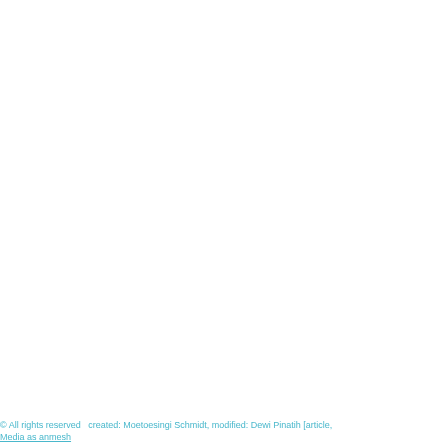© All rights reserved  created: Moetoesingi Schmidt, modified: Dewi Pinatih [article, Media as anmesh